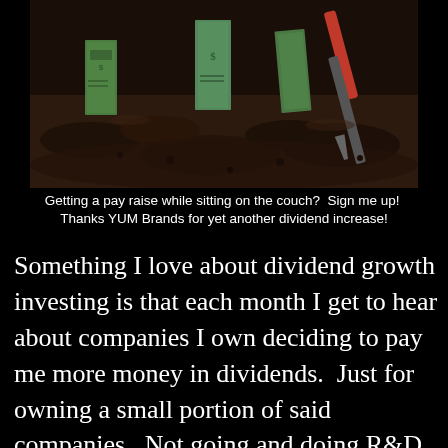[Figure (photo): Photo of dollar bills planted in dark soil with a gardening hand tool nearby, suggesting money growth]
Getting a pay raise while sitting on the couch?  Sign me up!  Thanks YUM Brands for yet another dividend increase!
Something I love about dividend growth investing is that each month I get to hear about companies I own deciding to pay me more money in dividends.  Just for owning a small portion of said companies.  Not going and doing R&D for new products or technology.  Not selling any products.  Not managing any employees or inventory.  Not making sales calls.  All I had to do was have the foresight to invest some of my